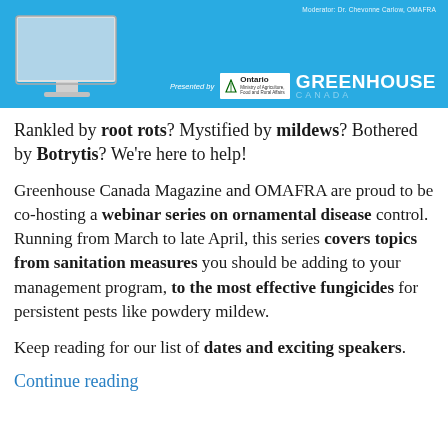[Figure (photo): Banner image with blue background showing a computer monitor with a presentation, Ontario Ministry of Agriculture Food and Rural Affairs logo, and Greenhouse Canada magazine logo. Text reads 'Presented by' and 'Moderator: Dr. Chevonne Carlow, OMAFRA'.]
Rankled by root rots? Mystified by mildews? Bothered by Botrytis? We’re here to help!
Greenhouse Canada Magazine and OMAFRA are proud to be co-hosting a webinar series on ornamental disease control. Running from March to late April, this series covers topics from sanitation measures you should be adding to your management program, to the most effective fungicides for persistent pests like powdery mildew.
Keep reading for our list of dates and exciting speakers.
Continue reading